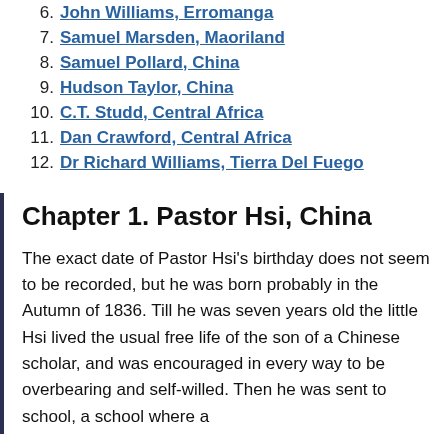6. John Williams, Erromanga
7. Samuel Marsden, Maoriland
8. Samuel Pollard, China
9. Hudson Taylor, China
10. C.T. Studd, Central Africa
11. Dan Crawford, Central Africa
12. Dr Richard Williams, Tierra Del Fuego
Chapter 1. Pastor Hsi, China
The exact date of Pastor Hsi's birthday does not seem to be recorded, but he was born probably in the Autumn of 1836. Till he was seven years old the little Hsi lived the usual free life of the son of a Chinese scholar, and was encouraged in every way to be overbearing and self-willed. Then he was sent to school, a school where a